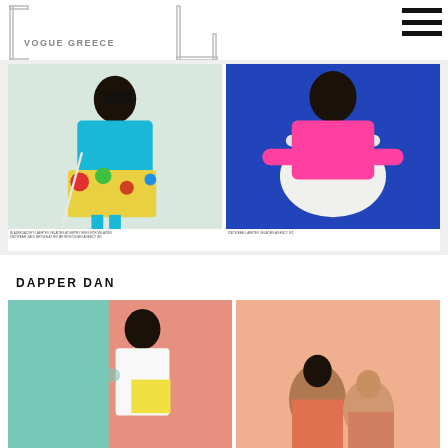[Figure (logo): Vogue Greece logo with bracket and L mark, hamburger menu icon on right]
[Figure (photo): Fashion editorial showing a model in turquoise blazer and colorful skirt leaning on a cane, white background]
BLAZER/JACKET: LAERTES VELADIES AT EMORY REES FOR VELADIES KNITWEAR: ZACK BROWN AT HIS METROKOLINEN AGENCY INC
[Figure (photo): Fashion editorial showing a model in bright pink crochet sweater seated on a white chair against blue background]
KNITWEAR: LAERTES VELADIES AGENCY INC
DAPPER DAN
[Figure (photo): Fashion editorial with model in white jacket against coral/pink background]
[Figure (photo): Fashion editorial with model against orange/peach background]